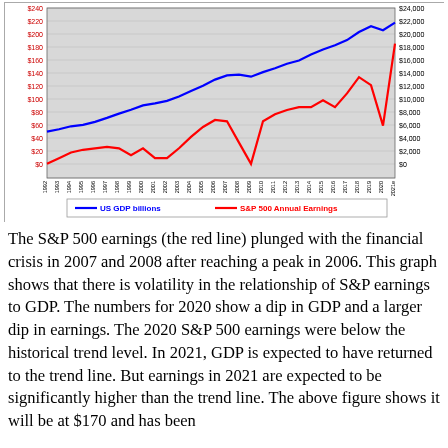[Figure (line-chart): US GDP billions vs S&P 500 Annual Earnings]
The S&P 500 earnings (the red line) plunged with the financial crisis in 2007 and 2008 after reaching a peak in 2006. This graph shows that there is volatility in the relationship of S&P earnings to GDP. The numbers for 2020 show a dip in GDP and a larger dip in earnings. The 2020 S&P 500 earnings were below the historical trend level. In 2021, GDP is expected to have returned to the trend line. But earnings in 2021 are expected to be significantly higher than the trend line. The above figure shows it will be at $170 and has been